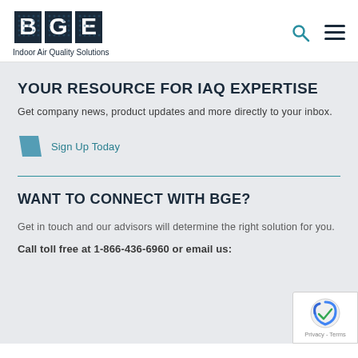BGE Indoor Air Quality Solutions
YOUR RESOURCE FOR IAQ EXPERTISE
Get company news, product updates and more directly to your inbox.
Sign Up Today
WANT TO CONNECT WITH BGE?
Get in touch and our advisors will determine the right solution for you.
Call toll free at 1-866-436-6960 or email us: